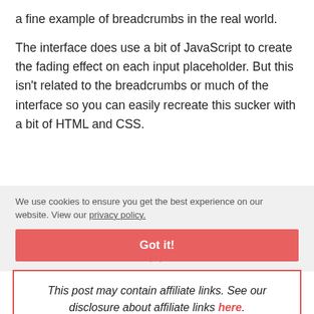a fine example of breadcrumbs in the real world.
The interface does use a bit of JavaScript to create the fading effect on each input placeholder. But this isn't related to the breadcrumbs or much of the interface so you can easily recreate this sucker with a bit of HTML and CSS.
We use cookies to ensure you get the best experience on our website. View our privacy policy.
Got it!
· ·
This post may contain affiliate links. See our disclosure about affiliate links here.